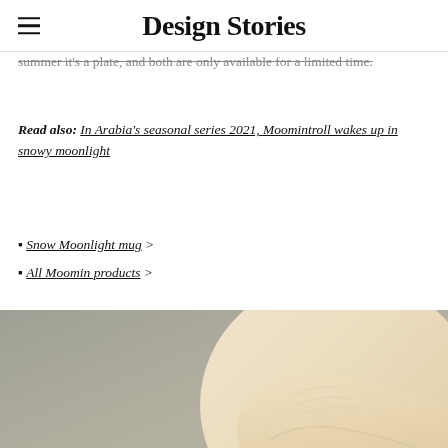Design Stories
summer it's a plate, and both are only available for a limited time.
Read also: In Arabia's seasonal series 2021, Moomintroll wakes up in snowy moonlight
▪ Snow Moonlight mug >
▪ All Moomin products >
[Figure (photo): A person wearing a cream/beige sweater with hands clasped together, photographed against a grayish-beige background.]